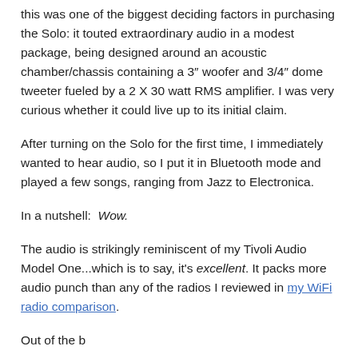this was one of the biggest deciding factors in purchasing the Solo: it touted extraordinary audio in a modest package, being designed around an acoustic chamber/chassis containing a 3″ woofer and 3/4″ dome tweeter fueled by a 2 X 30 watt RMS amplifier. I was very curious whether it could live up to its initial claim.
After turning on the Solo for the first time, I immediately wanted to hear audio, so I put it in Bluetooth mode and played a few songs, ranging from Jazz to Electronica.
In a nutshell:  Wow.
The audio is strikingly reminiscent of my Tivoli Audio Model One...which is to say, it's excellent. It packs more audio punch than any of the radios I reviewed in my WiFi radio comparison.
Out of the box, the audio is fairly well-balanced at least...